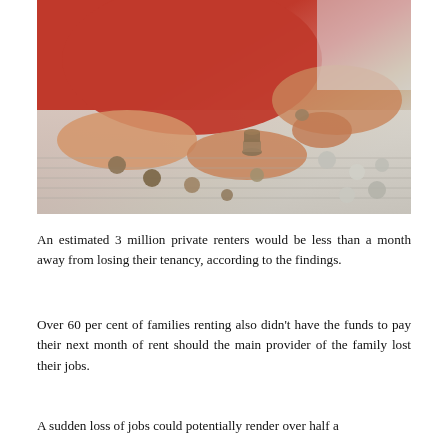[Figure (photo): Close-up photo of hands counting coins on a striped surface. A person wearing a red top is holding and sorting various coins, including stacked coins in one hand. Multiple coins are scattered across the table.]
An estimated 3 million private renters would be less than a month away from losing their tenancy, according to the findings.
Over 60 per cent of families renting also didn't have the funds to pay their next month of rent should the main provider of the family lost their jobs.
A sudden loss of jobs could potentially render over half a